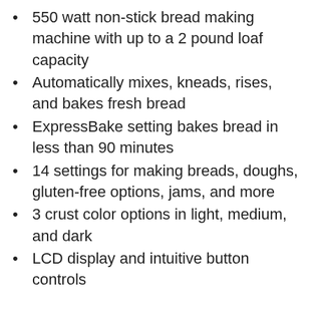550 watt non-stick bread making machine with up to a 2 pound loaf capacity
Automatically mixes, kneads, rises, and bakes fresh bread
ExpressBake setting bakes bread in less than 90 minutes
14 settings for making breads, doughs, gluten-free options, jams, and more
3 crust color options in light, medium, and dark
LCD display and intuitive button controls